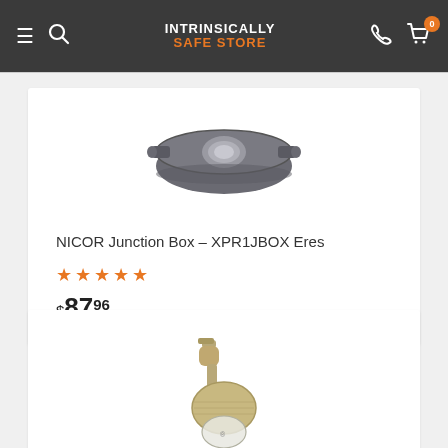INTRINSICALLY SAFE STORE
[Figure (photo): NICOR Junction Box product photo showing a dark grey/charcoal colored junction box with a central circular fitting]
NICOR Junction Box – XPR1JBOX Eres
★★★★★
$87.96
[Figure (photo): Industrial light fixture product photo showing a gold/brass colored explosion-proof wall-mount light with a round globe]